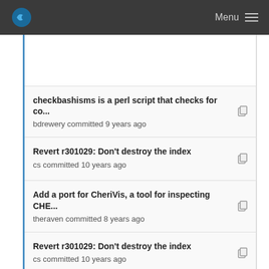Menu
checkbashisms is a perl script that checks for co...
bdrewery committed 9 years ago
Revert r301029: Don't destroy the index
cs committed 10 years ago
Add a port for CheriVis, a tool for inspecting CHE...
theraven committed 8 years ago
Revert r301029: Don't destroy the index
cs committed 10 years ago
Changes the current Ruby.
swills committed 9 years ago
Revert r301029: Don't destroy the index
cs committed 10 years ago